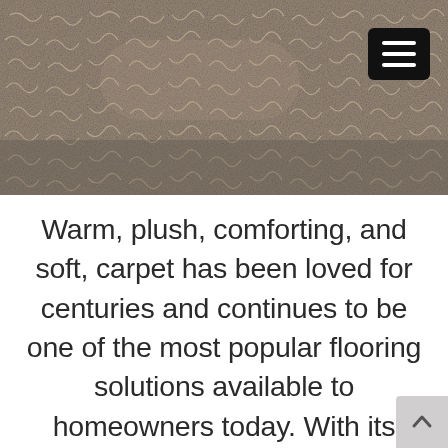[Figure (photo): Close-up photograph of a patterned carpet or rug with a warm grey-brown tone featuring abstract light-colored designs on a darker background. A dark hamburger menu button (three white horizontal lines) is visible in the upper right corner.]
Warm, plush, comforting, and soft, carpet has been loved for centuries and continues to be one of the most popular flooring solutions available to homeowners today. With its ability to absorb both sound and impact while warming any space, it's particularly